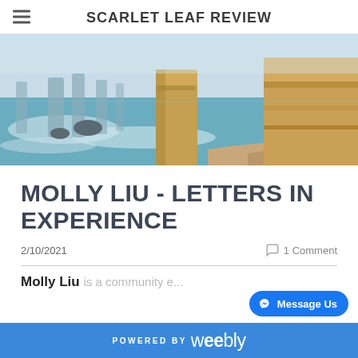SCARLET LEAF REVIEW
[Figure (photo): Coastal landscape with large sandstone rock stacks and sea stacks rising from ocean waves, with sandy beach and yellow cliffs in background. Likely the Twelve Apostles, Great Ocean Road, Australia.]
MOLLY LIU - LETTERS IN EXPERIENCE
2/10/2021
1 Comment
Molly Liu is a community...
POWERED BY weebly